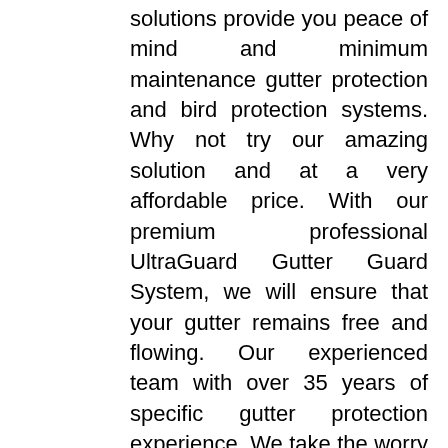solutions provide you peace of mind and minimum maintenance gutter protection and bird protection systems. Why not try our amazing solution and at a very affordable price. With our premium professional UltraGuard Gutter Guard System, we will ensure that your gutter remains free and flowing. Our experienced team with over 35 years of specific gutter protection experience. We take the worry out of cleaning your gutter, and we will not be satisfied until you are.

Gutter Guard King Seaford is proudly Australian owned and operated, and as